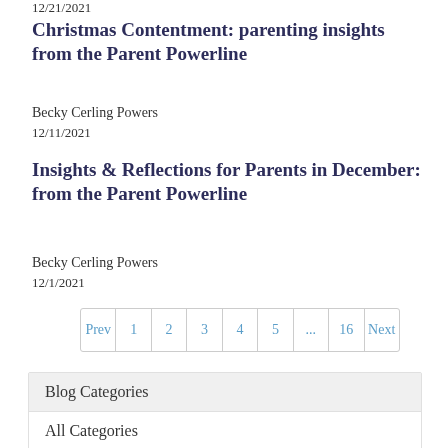12/21/2021
Christmas Contentment: parenting insights from the Parent Powerline
Becky Cerling Powers
12/11/2021
Insights & Reflections for Parents in December: from the Parent Powerline
Becky Cerling Powers
12/1/2021
Prev  1  2  3  4  5  ...  16  Next
Blog Categories
All Categories